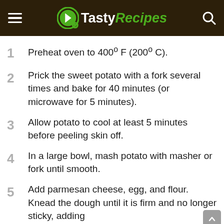TastyRecipes
Preheat oven to 400º F (200º C).
Prick the sweet potato with a fork several times and bake for 40 minutes (or microwave for 5 minutes).
Allow potato to cool at least 5 minutes before peeling skin off.
In a large bowl, mash potato with masher or fork until smooth.
Add parmesan cheese, egg, and flour. Knead the dough until it is firm and no longer sticky, adding